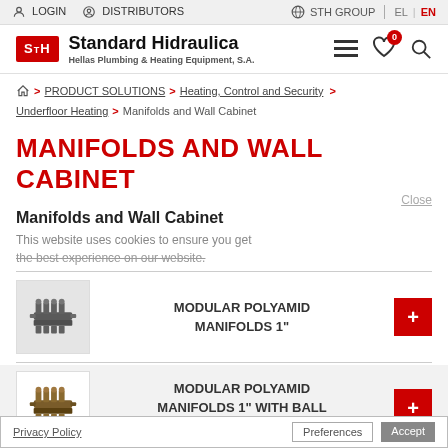LOGIN | DISTRIBUTORS | STH GROUP | EL | EN
[Figure (logo): Standard Hidraulica logo - STH red box with company name and tagline 'Hellas Plumbing & Heating Equipment, S.A.']
PRODUCT SOLUTIONS > Heating, Control and Security > Underfloor Heating > Manifolds and Wall Cabinet
MANIFOLDS AND WALL CABINET
Close
Manifolds and Wall Cabinet
This website uses cookies to ensure you get the best experience on our website.
Privacy Policy
MODULAR POLYAMID MANIFOLDS 1"
MODULAR POLYAMID MANIFOLDS 1" WITH BALL VALVES
Preferences | Accept